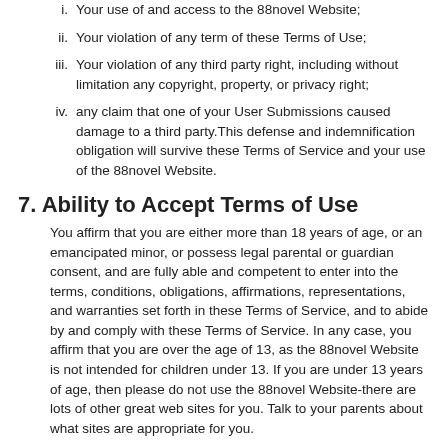i. Your use of and access to the 88novel Website;
ii. Your violation of any term of these Terms of Use;
iii. Your violation of any third party right, including without limitation any copyright, property, or privacy right;
iv. any claim that one of your User Submissions caused damage to a third party.This defense and indemnification obligation will survive these Terms of Service and your use of the 88novel Website.
7. Ability to Accept Terms of Use
You affirm that you are either more than 18 years of age, or an emancipated minor, or possess legal parental or guardian consent, and are fully able and competent to enter into the terms, conditions, obligations, affirmations, representations, and warranties set forth in these Terms of Service, and to abide by and comply with these Terms of Service. In any case, you affirm that you are over the age of 13, as the 88novel Website is not intended for children under 13. If you are under 13 years of age, then please do not use the 88novel Website-there are lots of other great web sites for you. Talk to your parents about what sites are appropriate for you.
8. Assignment
These Terms of Use, and any rights and licenses granted